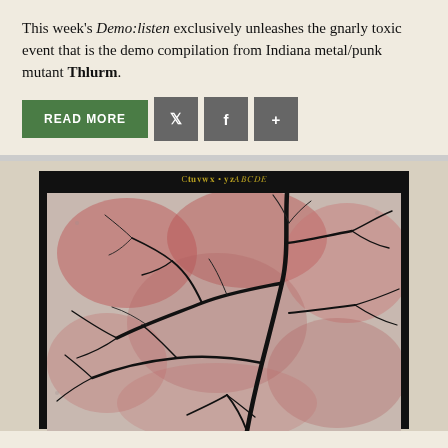This week's Demo:listen exclusively unleashes the gnarly toxic event that is the demo compilation from Indiana metal/punk mutant Thlurm.
[Figure (illustration): Album artwork for Thlurm demo compilation. Dark framed image showing abstract branching black vein-like structures over a mottled pink, red, and grey background, resembling a biological or tree root pattern. Yellow/gold gothic text at the top of the frame reads what appears to be the band/album name.]